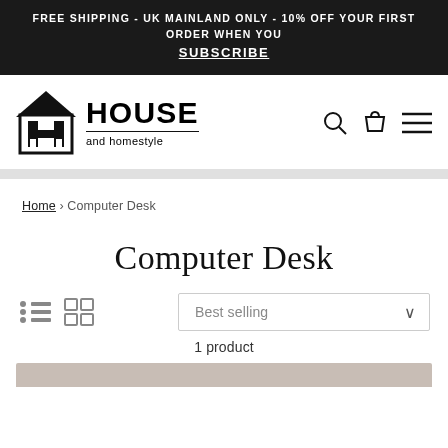FREE SHIPPING - UK MAINLAND ONLY - 10% OFF YOUR FIRST ORDER WHEN YOU SUBSCRIBE
[Figure (logo): House and Homestyle logo with house icon and text]
Home › Computer Desk
Computer Desk
Best selling (sort dropdown) | List/Grid view icons
1 product